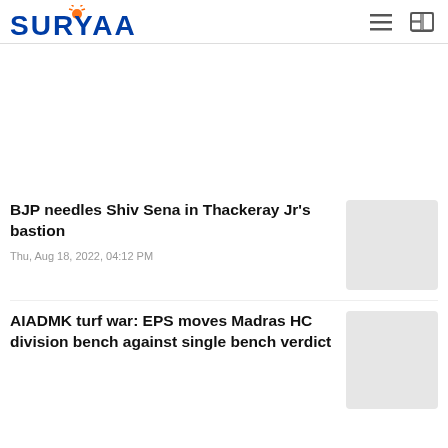SURYAA
[Figure (other): Advertisement/blank area]
BJP needles Shiv Sena in Thackeray Jr's bastion
Thu, Aug 18, 2022, 04:12 PM
AIADMK turf war: EPS moves Madras HC division bench against single bench verdict